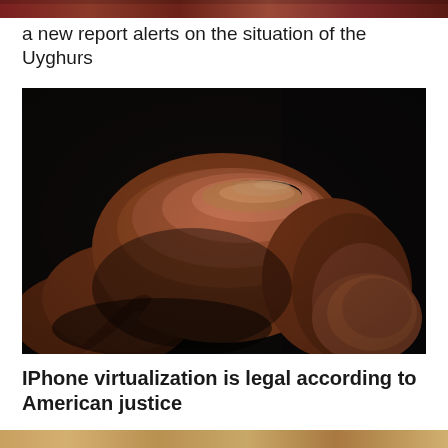[Figure (photo): Partial view of a photo at the top of the page, showing reddish-brown tones]
a new report alerts on the situation of the Uyghurs
[Figure (photo): Close-up photograph of a wooden judge's gavel against a dark background]
IPhone virtualization is legal according to American justice
[Figure (photo): Partial view of a photo at the bottom of the page]